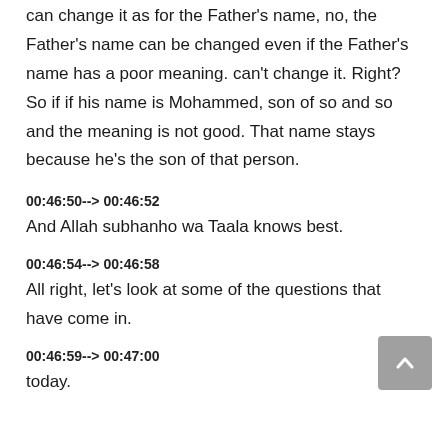can change it as for the Father's name, no, the Father's name can be changed even if the Father's name has a poor meaning. can't change it. Right? So if if his name is Mohammed, son of so and so and the meaning is not good. That name stays because he's the son of that person.
00:46:50--> 00:46:52
And Allah subhanho wa Taala knows best.
00:46:54--> 00:46:58
All right, let's look at some of the questions that have come in.
00:46:59--> 00:47:00
today.
00:47:01--> 00:47:06